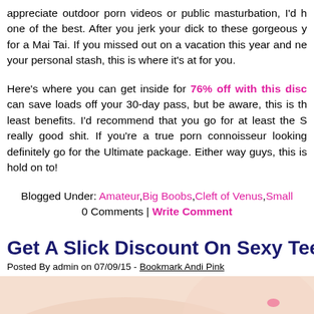appreciate outdoor porn videos or public masturbation, I'd h one of the best. After you jerk your dick to these gorgeous y for a Mai Tai. If you missed out on a vacation this year and ne your personal stash, this is where it's at for you.
Here's where you can get inside for 76% off with this disc can save loads off your 30-day pass, but be aware, this is th least benefits. I'd recommend that you go for at least the S really good shit. If you're a true porn connoisseur looking definitely go for the Ultimate package. Either way guys, this is hold on to!
Blogged Under: Amateur, Big Boobs, Cleft of Venus, Small
0 Comments | Write Comment
Get A Slick Discount On Sexy Teen Po
Posted By admin on 07/09/15 - Bookmark Andi Pink
[Figure (photo): Partial body photo, skin tones, light background]